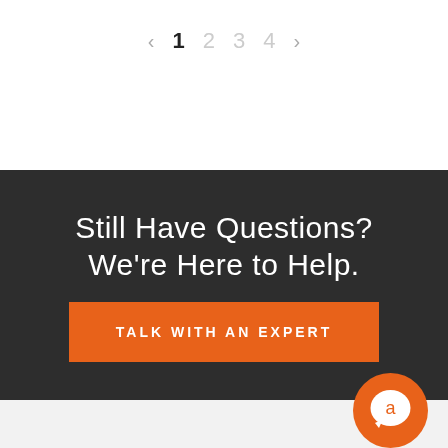< 1 2 3 4 >
Still Have Questions? We're Here to Help.
TALK WITH AN EXPERT
[Figure (logo): Orange circular chat/support logo with a stylized 'a' character inside]